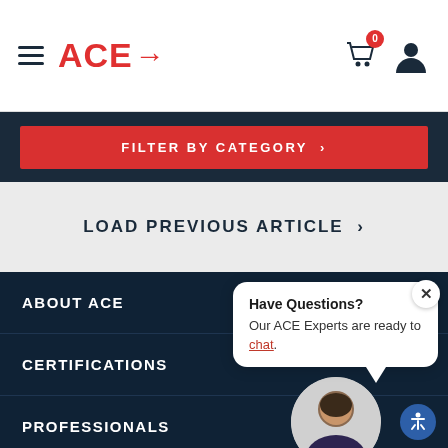ACE→
FILTER BY CATEGORY ›
LOAD PREVIOUS ARTICLE ›
ABOUT ACE
CERTIFICATIONS
[Figure (infographic): Chat widget with close button, showing 'Have Questions? Our ACE Experts are ready to chat.' with a circular avatar photo of a smiling man]
PROFESSIONALS
RESOURCES
LEGAL